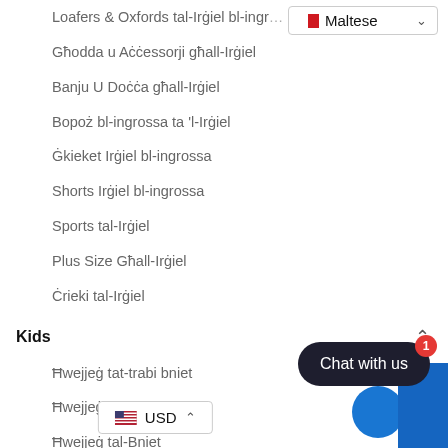Loafers & Oxfords tal-Irġiel bl-ingrossa
Għodda u Aċċessorji għall-Irġiel
Banju U Doċċa għall-Irġiel
Bороż bl-ingrossa ta 'l-Irġiel
Ġkieket Irġiel bl-ingrossa
Shorts Irġiel bl-ingrossa
Sports tal-Irġiel
Plus Size Għall-Irġiel
Ċrieki tal-Irġiel
Kids
Ħwejjeġ tat-trabi bniet
Ħwejjeġ tat-trabi
Ħwejjeġ tal-Bniet
Ħwejjeġ tat-Tfal
Ħwejjeġ tat-tfal tad-denim